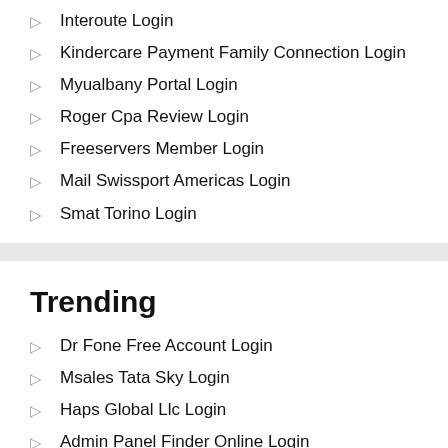Interoute Login
Kindercare Payment Family Connection Login
Myualbany Portal Login
Roger Cpa Review Login
Freeservers Member Login
Mail Swissport Americas Login
Smat Torino Login
Trending
Dr Fone Free Account Login
Msales Tata Sky Login
Haps Global Llc Login
Admin Panel Finder Online Login
The Warehouse Talent Store Employee Login